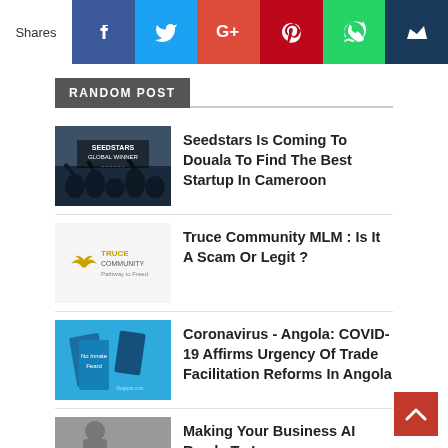Shares
RANDOM POST
Seedstars Is Coming To Douala To Find The Best Startup In Cameroon
Truce Community MLM : Is It A Scam Or Legit ?
Coronavirus - Angola: COVID-19 Affirms Urgency Of Trade Facilitation Reforms In Angola
Making Your Business AI Ready To Improve